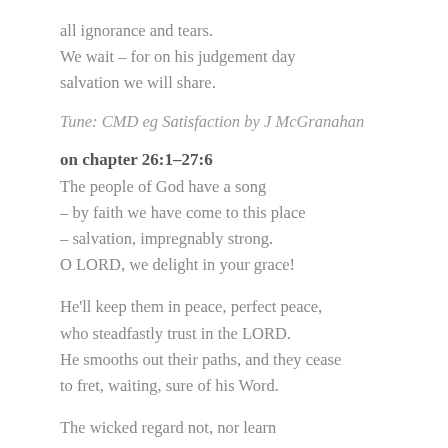all ignorance and tears.
We wait – for on his judgement day
salvation we will share.
Tune: CMD eg Satisfaction by J McGranahan
on chapter 26:1–27:6
The people of God have a song
– by faith we have come to this place
– salvation, impregnably strong.
O LORD, we delight in your grace!
He'll keep them in peace, perfect peace,
who steadfastly trust in the LORD.
He smooths out their paths, and they cease
to fret, waiting, sure of his Word.
The wicked regard not, nor learn